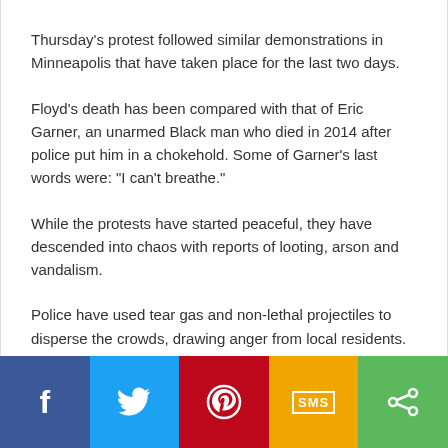Thursday's protest followed similar demonstrations in Minneapolis that have taken place for the last two days.
Floyd's death has been compared with that of Eric Garner, an unarmed Black man who died in 2014 after police put him in a chokehold. Some of Garner's last words were: "I can't breathe."
While the protests have started peaceful, they have descended into chaos with reports of looting, arson and vandalism.
Police have used tear gas and non-lethal projectiles to disperse the crowds, drawing anger from local residents.
[Figure (other): Social sharing bar with Facebook, Twitter, Pinterest, SMS, and share buttons]